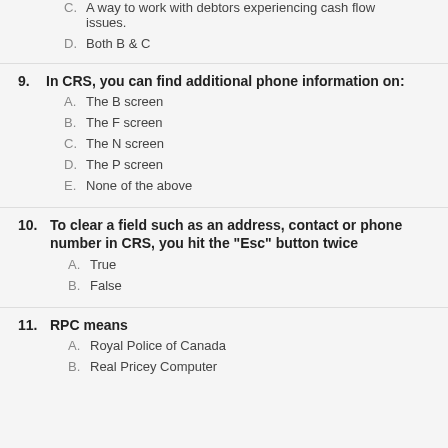C. A way to work with debtors experiencing cash flow issues.
D. Both B & C
9. In CRS, you can find additional phone information on:
A. The B screen
B. The F screen
C. The N screen
D. The P screen
E. None of the above
10. To clear a field such as an address, contact or phone number in CRS, you hit the "Esc" button twice
A. True
B. False
11. RPC means
A. Royal Police of Canada
B. Real Pricey Computer